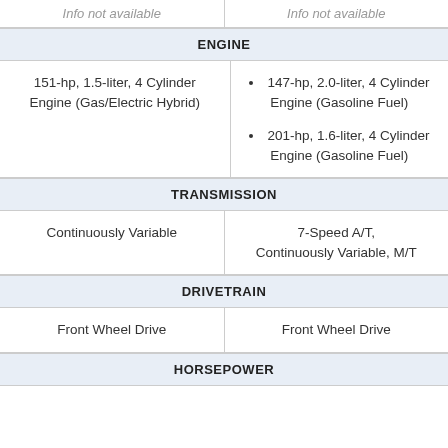Info not available
Info not available
ENGINE
151-hp, 1.5-liter, 4 Cylinder Engine (Gas/Electric Hybrid)
147-hp, 2.0-liter, 4 Cylinder Engine (Gasoline Fuel)
201-hp, 1.6-liter, 4 Cylinder Engine (Gasoline Fuel)
TRANSMISSION
Continuously Variable
7-Speed A/T, Continuously Variable, M/T
DRIVETRAIN
Front Wheel Drive
Front Wheel Drive
HORSEPOWER